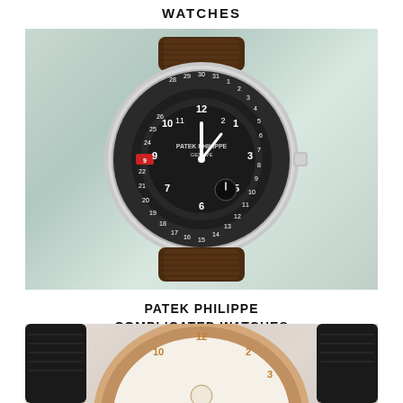WATCHES
[Figure (photo): A Patek Philippe watch with dark grey dial, white Arabic numerals for both hour markers and date track around the outer bezel, white hands, small seconds sub-dial at 6 o'clock, and a dark brown alligator leather strap. Silver/platinum case.]
PATEK PHILIPPE COMPLICATED WATCHES
[Figure (photo): Partial view of a Patek Philippe complicated watch with a rose gold case, black alligator leather strap, and white dial with Arabic numerals in gold color. A small sub-dial is visible at lower center.]